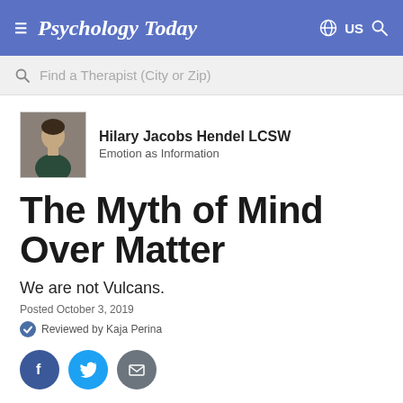Psychology Today | US
Find a Therapist (City or Zip)
Hilary Jacobs Hendel LCSW
Emotion as Information
The Myth of Mind Over Matter
We are not Vulcans.
Posted October 3, 2019
Reviewed by Kaja Perina